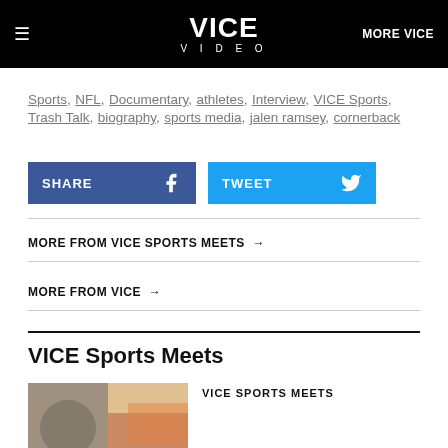VICE VIDEO | MORE VICE
Sports, NFL, Documentary, athletes, Interview, VICE Sports, Trash Talk, biography, sports media, jalen ramsey, cornerback
[Figure (screenshot): Share on Facebook button (blue) and Tweet button (light blue) with respective icons]
MORE FROM VICE SPORTS MEETS →
MORE FROM VICE →
VICE Sports Meets
VICE SPORTS MEETS